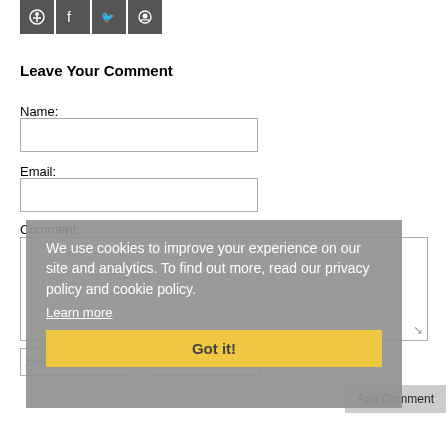[Figure (other): Social media share icons: Pinterest, Facebook, Twitter, Reddit (dark grey square buttons)]
Leave Your Comment
Name:
Email:
Comment:
We use cookies to improve your experience on our site and analytics. To find out more, read our privacy policy and cookie policy.
Learn more
Got it!
Add Comment